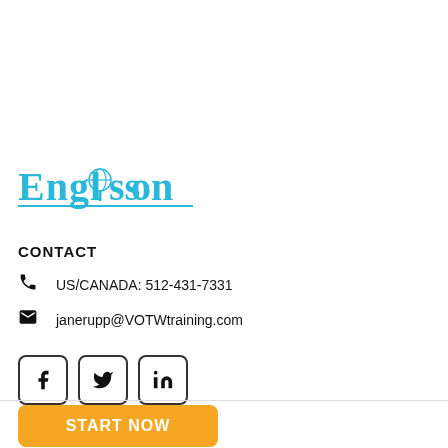[Figure (logo): Englission logo in teal/blue color with globe icon replacing the letter 'o', underlined]
CONTACT
US/CANADA: 512-431-7331
janerupp@VOTWtraining.com
[Figure (infographic): Social media icons: Facebook, Twitter, LinkedIn in rounded square buttons]
START NOW